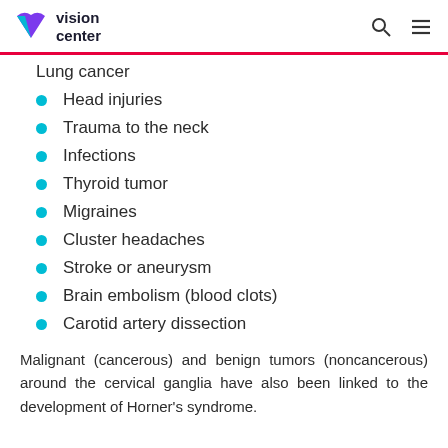vision center
Lung cancer
Head injuries
Trauma to the neck
Infections
Thyroid tumor
Migraines
Cluster headaches
Stroke or aneurysm
Brain embolism (blood clots)
Carotid artery dissection
Malignant (cancerous) and benign tumors (noncancerous) around the cervical ganglia have also been linked to the development of Horner's syndrome.